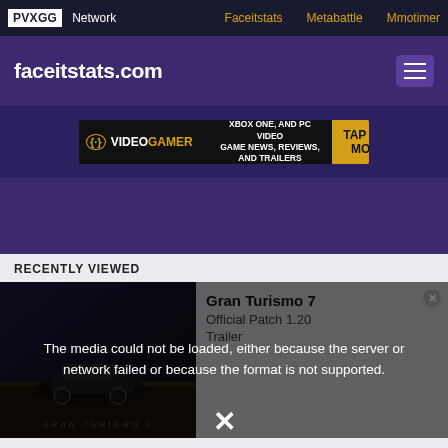PVXGG Network  Faceitstats  Metabattle  Mmotimer
faceitstats.com
[Figure (screenshot): VideoGamer advertisement banner: XBOX ONE, AND PC VIDEO GAME NEWS, REVIEWS, AND TRAILERS - TAP FOR MORE]
RECENTLY VIEWED
[Figure (screenshot): Gran Turismo 7 Official Patch 1.20 Trailer video thumbnail with media error overlay: The media could not be loaded, either because the server or network failed or because the format is not supported.]
| Left Stats | Right Stats |
| --- | --- |
| 1.21 K/D | 0.92 K/D |
| 36% HS | 37% HS |
| 50% WR | 40% WR |